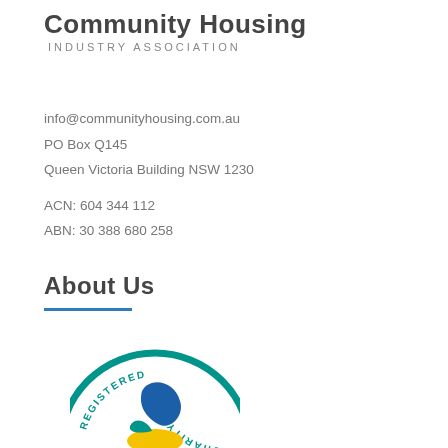Community Housing INDUSTRY ASSOCIATION
info@communityhousing.com.au
PO Box Q145
Queen Victoria Building NSW 1230

ACN: 604 344 112
ABN: 30 388 680 258
About Us
[Figure (logo): Registered Charity circular badge logo with teal border and blue/yellow graphic inside]